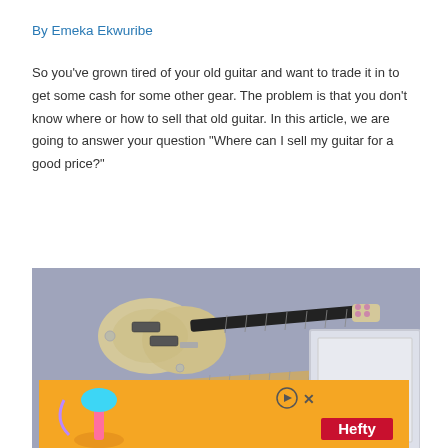By Emeka Ekwuribe
So you’ve grown tired of your old guitar and want to trade it in to get some cash for some other gear. The problem is that you don’t know where or how to sell that old guitar. In this article, we are going to answer your question “Where can I sell my guitar for a good price?”
[Figure (photo): Two electric guitars mounted on a gray/purple wall. Top guitar is a cream-colored Les Paul-style guitar. Bottom guitar is a white and black Telecaster-style guitar.]
[Figure (photo): Advertisement banner with orange background showing a Hefty brand ad with play and close controls.]